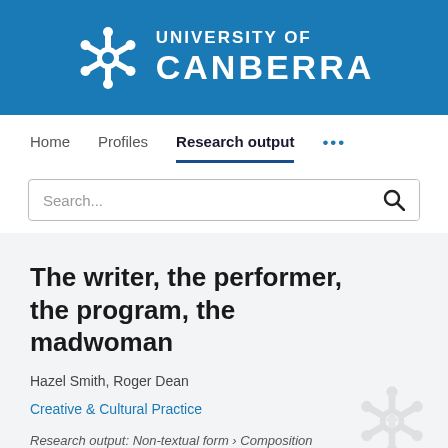[Figure (logo): University of Canberra logo: white snowflake/gear icon with white text 'UNIVERSITY OF CANBERRA' on a blue background banner]
Home   Profiles   Research output   ...
Search...
The writer, the performer, the program, the madwoman
Hazel Smith, Roger Dean
Creative & Cultural Practice
Research output: Non-textual form › Composition